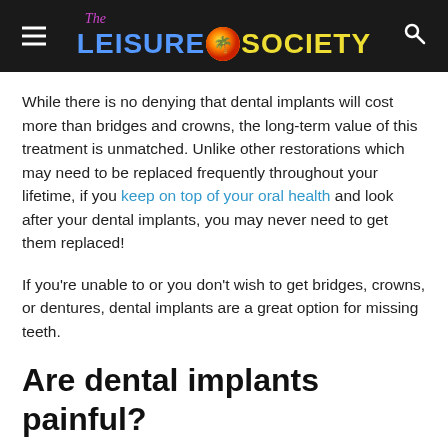The Leisure Society
While there is no denying that dental implants will cost more than bridges and crowns, the long-term value of this treatment is unmatched. Unlike other restorations which may need to be replaced frequently throughout your lifetime, if you keep on top of your oral health and look after your dental implants, you may never need to get them replaced!
If you're unable to or you don't wish to get bridges, crowns, or dentures, dental implants are a great option for missing teeth.
Are dental implants painful?
As with any dental procedure, some minor discomfort may